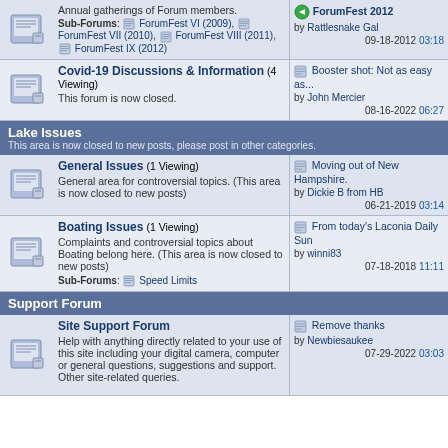Annual gatherings of Forum members. Sub-Forums: ForumFest VI (2009), ForumFest VII (2010), ForumFest VIII (2011), ForumFest IX (2012)
ForumFest 2012 by Rattlesnake Gal 09-18-2012 03:18
Covid-19 Discussions & Information (4 Viewing) This forum is now closed.
Booster shot: Not as easy as... by John Mercier 08-16-2022 06:27
Lake Issues - This area is now closed to new posts, please post in other categories.
General Issues (1 Viewing) General area for controversial topics. (This area is now closed to new posts)
Moving out of New Hampshire. by Dickie B from HB 06-21-2019 03:14
Boating Issues (1 Viewing) Complaints and controversial topics about Boating belong here. (This area is now closed to new posts) Sub-Forums: Speed Limits
From today's Laconia Daily Sun by winni83 07-18-2018 11:11
Support Forum
Site Support Forum Help with anything directly related to your use of this site including your digital camera, computer or general questions, suggestions and support. Other site-related queries.
Remove thanks by Newbiesaukee 07-29-2022 03:03